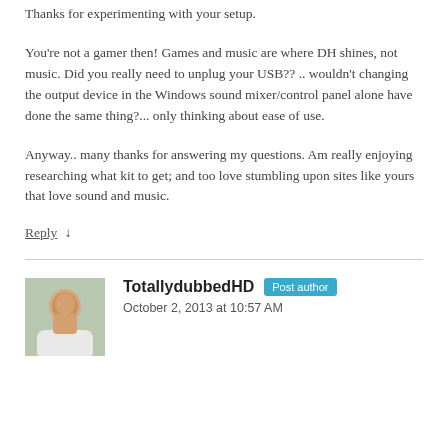Thanks for experimenting with your setup.
You're not a gamer then! Games and music are where DH shines, not music. Did you really need to unplug your USB?? .. wouldn't changing the output device in the Windows sound mixer/control panel alone have done the same thing?... only thinking about ease of use.
Anyway.. many thanks for answering my questions. Am really enjoying researching what kit to get; and too love stumbling upon sites like yours that love sound and music.
Reply ↓
TotallydubbedHD  Post author
October 2, 2013 at 10:57 AM